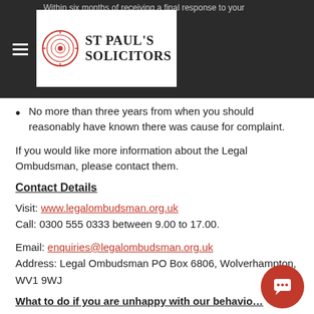No more than three years from when you should reasonably have known there was cause for complaint.
If you would like more information about the Legal Ombudsman, please contact them.
Contact Details
Visit: www.legalombudsman.org.uk
Call: 0300 555 0333 between 9.00 to 17.00.
Email: enquiries@legalombudsman.org.uk
Address: Legal Ombudsman PO Box 6806, Wolverhampton, WV1 9WJ
What to do if you are unhappy with our behaviour